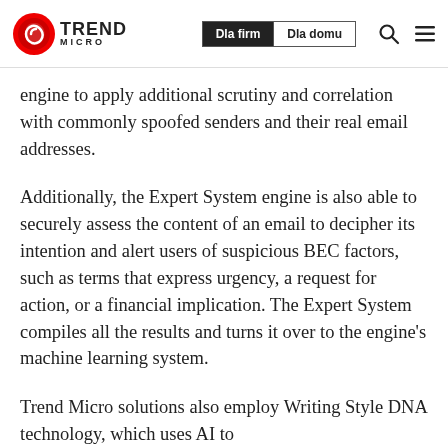Trend Micro | Dla firm | Dla domu
engine to apply additional scrutiny and correlation with commonly spoofed senders and their real email addresses.
Additionally, the Expert System engine is also able to securely assess the content of an email to decipher its intention and alert users of suspicious BEC factors, such as terms that express urgency, a request for action, or a financial implication. The Expert System compiles all the results and turns it over to the engine’s machine learning system.
Trend Micro solutions also employ Writing Style DNA technology, which uses AI to